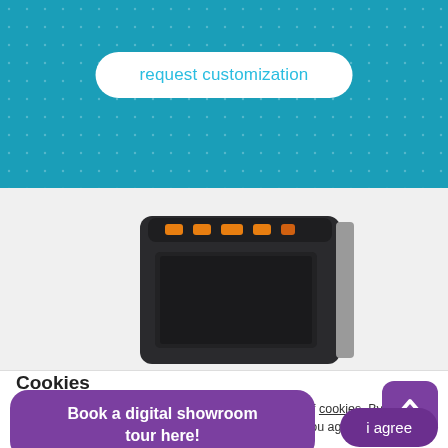[Figure (screenshot): Blue dotted background section at the top of a webpage]
request customization
[Figure (photo): Black electronic device/reader with orange LED indicator lights on top, photographed against a light gray background]
Cookies
In order to serve you better, this website makes use of cookies. By clicking all a... and by continuing to browse this website, you agree to the placing
[Figure (screenshot): Purple rounded button with text 'Book a digital showroom tour here!']
[Figure (screenshot): Purple rounded square button with an upward chevron arrow icon]
[Figure (screenshot): Purple rounded button with text 'i agree']